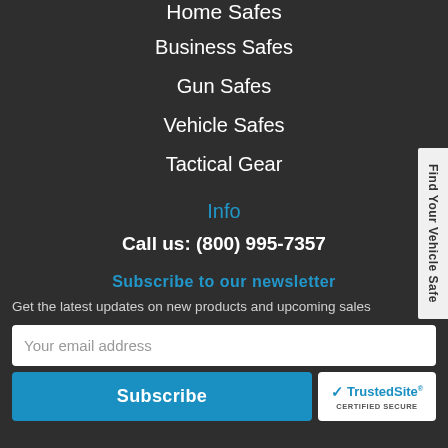Home Safes
Business Safes
Gun Safes
Vehicle Safes
Tactical Gear
Info
Call us: (800) 995-7357
Subscribe to our newsletter
Get the latest updates on new products and upcoming sales
Your email address
Subscribe